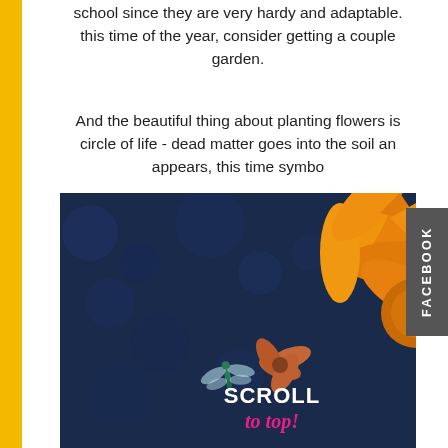school since they are very hardy and adaptable. this time of the year, consider getting a couple garden.
And the beautiful thing about planting flowers is circle of life - dead matter goes into the soil and appears, this time symbo
[Figure (photo): Close-up photo of orange/yellow flowers (cosmos or similar) with a dragonfly on a smaller flower, dark blue-green bokeh background. Overlay text reads SCROLL to top!]
FACEBOOK